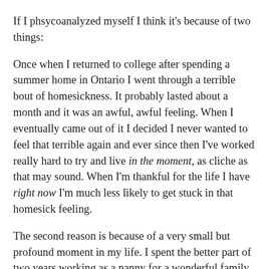If I phsycoanalyzed myself I think it's because of two things:
Once when I returned to college after spending a summer home in Ontario I went through a terrible bout of homesickness. It probably lasted about a month and it was an awful, awful feeling. When I eventually came out of it I decided I never wanted to feel that terrible again and ever since then I've worked really hard to try and live in the moment, as cliche as that may sound. When I'm thankful for the life I have right now I'm much less likely to get stuck in that homesick feeling.
The second reason is because of a very small but profound moment in my life. I spent the better part of two years working as a nanny for a wonderful family when I was in college/in-between college and seminary. I spent much of my time marveling at how big they were getting while I cared for them. Moving from infants to toddlers (and it does happen so fast!). Then, about a year after I finished working for them, I was looking at some old pictures and I thought look how little they were! Suddenly I was struck with the fact that I had